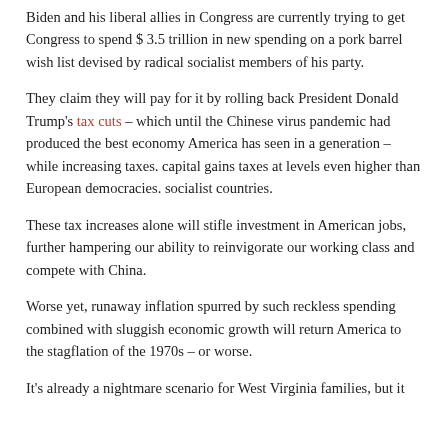Biden and his liberal allies in Congress are currently trying to get Congress to spend $ 3.5 trillion in new spending on a pork barrel wish list devised by radical socialist members of his party.
They claim they will pay for it by rolling back President Donald Trump's tax cuts – which until the Chinese virus pandemic had produced the best economy America has seen in a generation – while increasing taxes. capital gains taxes at levels even higher than European democracies. socialist countries.
These tax increases alone will stifle investment in American jobs, further hampering our ability to reinvigorate our working class and compete with China.
Worse yet, runaway inflation spurred by such reckless spending combined with sluggish economic growth will return America to the stagflation of the 1970s – or worse.
It's already a nightmare scenario for West Virginia families, but it